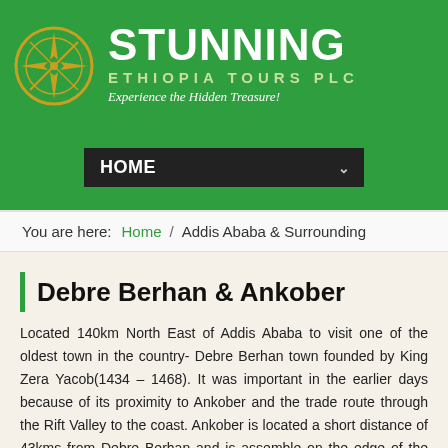[Figure (logo): Stunning Ethiopia Tours PLC logo with compass rose graphic in gold/yellow on green background, company name in white bold text, tagline in italic white text: Experience the Hidden Treasure!]
HOME
You are here: Home / Addis Ababa & Surrounding
Debre Berhan & Ankober
Located 140km North East of Addis Ababa to visit one of the oldest town in the country- Debre Berhan town founded by King Zera Yacob(1434 – 1468). It was important in the earlier days because of its proximity to Ankober and the trade route through the Rift Valley to the coast. Ankober is located a short distance of 43kms from Debre Berhan and is assemble on the edge of the great escarpment of the Rift Valley which offers an extraordinary view of the region. It is also founded